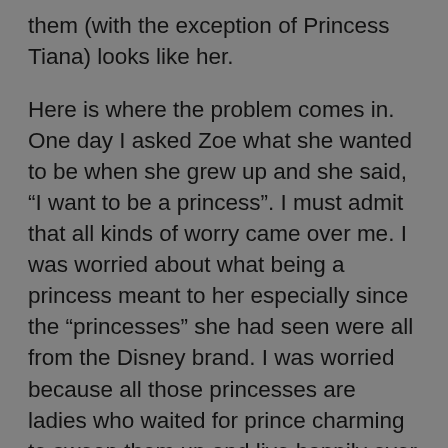them (with the exception of Princess Tiana) looks like her.

Here is where the problem comes in. One day I asked Zoe what she wanted to be when she grew up and she said, “I want to be a princess”. I must admit that all kinds of worry came over me. I was worried about what being a princess meant to her especially since the “princesses” she had seen were all from the Disney brand. I was worried because all those princesses are ladies who waited for prince charming to swoop them up and live happily ever after which we ALL know is not based in reality. I worried because those princesses look NOTHING like her (again with the exception of Princess Tiana who because